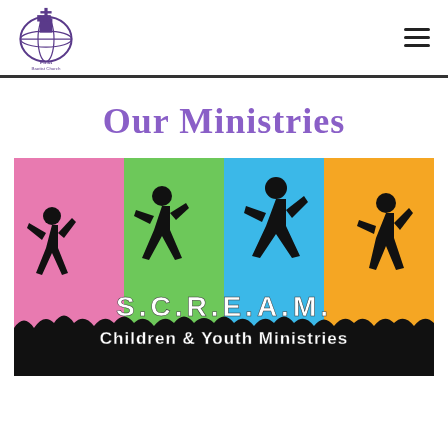First Baptist Church NBC
Our Ministries
[Figure (illustration): Colorful banner image with silhouettes of jumping children against pink, green, blue, and orange/yellow background panels. Text reads 'S.C.R.E.A.M.' and 'Children & Youth Ministries' over a dark grassy silhouette at the bottom.]